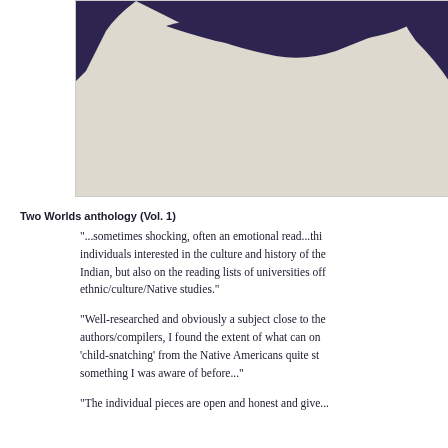[Figure (illustration): Partial illustration showing dark navy/purple silhouette figures or abstract shapes on a beige/tan background, cropped at the top of the page]
Two Worlds anthology (Vol. 1)
"...sometimes shocking, often an emotional read...this individuals interested in the culture and history of the Indian, but also on the reading lists of universities offering ethnic/culture/Native studies."
"Well-researched and obviously a subject close to the authors/compilers, I found the extent of what can only be 'child-snatching' from the Native Americans quite startling, something I was aware of before..."
"The individual pieces are open and honest and give...